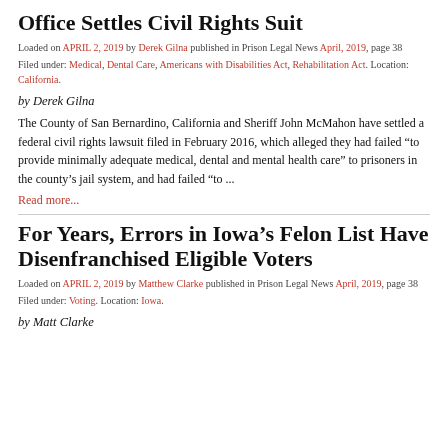Office Settles Civil Rights Suit
Loaded on APRIL 2, 2019 by Derek Gilna published in Prison Legal News April, 2019, page 38
Filed under: Medical, Dental Care, Americans with Disabilities Act, Rehabilitation Act. Location: California.
by Derek Gilna
The County of San Bernardino, California and Sheriff John McMahon have settled a federal civil rights lawsuit filed in February 2016, which alleged they had failed “to provide minimally adequate medical, dental and mental health care” to prisoners in the county’s jail system, and had failed “to ...
Read more...
For Years, Errors in Iowa’s Felon List Have Disenfranchised Eligible Voters
Loaded on APRIL 2, 2019 by Matthew Clarke published in Prison Legal News April, 2019, page 38
Filed under: Voting. Location: Iowa.
by Matt Clarke